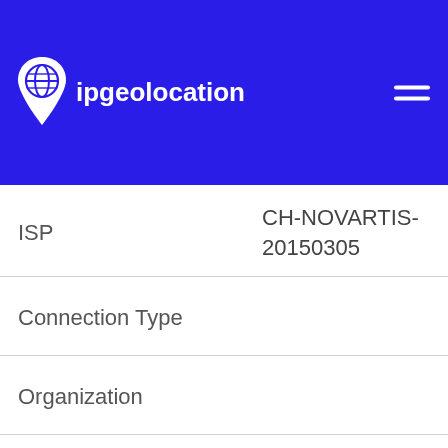[Figure (logo): ipgeolocation website logo with map pin icon on blue background with hamburger menu icon]
| Field | Value |
| --- | --- |
| ISP | CH-NOVARTIS-20150305 |
| Connection Type |  |
| Organization |  |
| AS Number | AS0 |
| Currency | Swiss Franc |
| Currency Code | CHF |
| Currency Symbol | CHF |